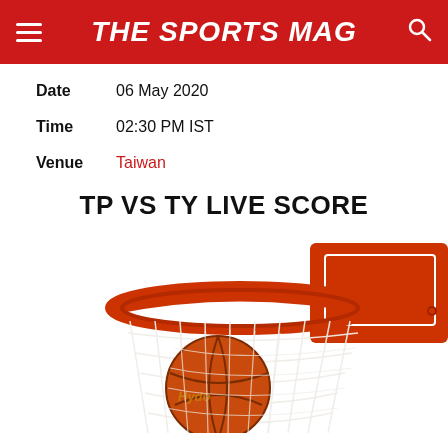THE SPORTS MAG
Date	06 May 2020
Time	02:30 PM IST
Venue	Taiwan
TP VS TY LIVE SCORE
[Figure (photo): Basketball going through a red basketball hoop net, close-up shot from below]